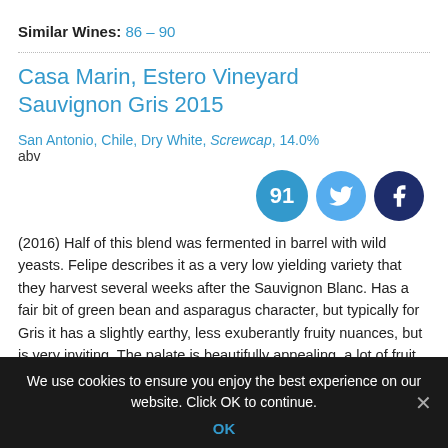Similar Wines: 86 – 90
Casa Marin, Estero Vineyard Sauvignon Gris 2015
San Antonio, Chile, Dry White, Screwcap, 14.0% abv
[Figure (infographic): Score circle showing 91, Twitter share button, Facebook share button]
(2016) Half of this blend was fermented in barrel with wild yeasts. Felipe describes it as a very low yielding variety that they harvest several weeks after the Sauvignon Blanc. Has a fair bit of green bean and asparagus character, but typically for Gris it has a slightly earthy, less exuberantly fruity nuances, but is very inviting. The palate is beautifully appealing, a lot of fruit
We use cookies to ensure you enjoy the best experience on our website. Click OK to continue.